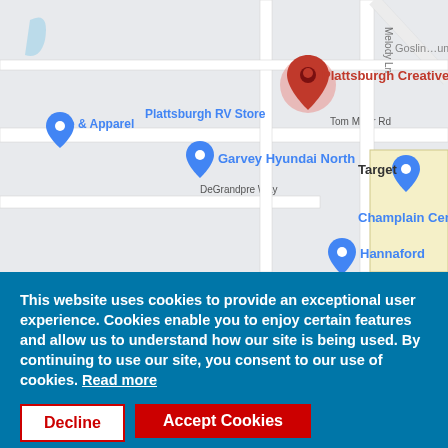[Figure (map): Google Maps screenshot showing Plattsburgh NY area with markers for Plattsburgh Creativesigns (red marker), Plattsburgh RV Store, e & Apparel, Garvey Hyundai North, Target, Champlain Centre, and Hannaford. Roads visible include Tom Miller Rd, DeGrandpre Way, and Melody Ln.]
This website uses cookies to provide an exceptional user experience. Cookies enable you to enjoy certain features and allow us to understand how our site is being used. By continuing to use our site, you consent to our use of cookies. Read more
Decline
Accept Cookies